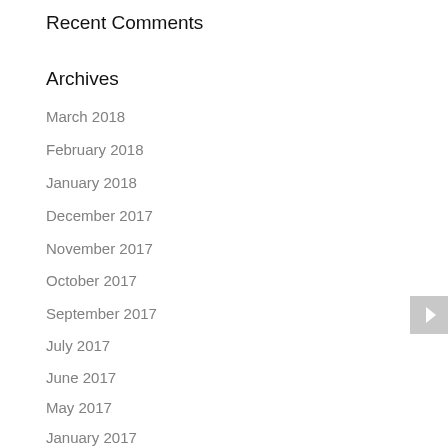Recent Comments
Archives
March 2018
February 2018
January 2018
December 2017
November 2017
October 2017
September 2017
July 2017
June 2017
May 2017
January 2017
December 2016